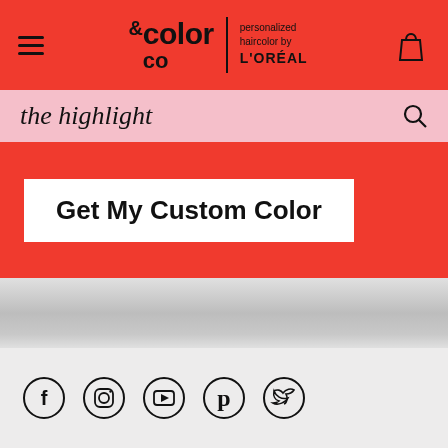[Figure (logo): & Color & Co personalized haircolor by L'OREAL logo on red header bar with hamburger menu and shopping bag icon]
the highlight
Get My Custom Color
[Figure (illustration): Gray gradient section representing background image area]
Social media icons: Facebook, Instagram, YouTube, Pinterest, Twitter